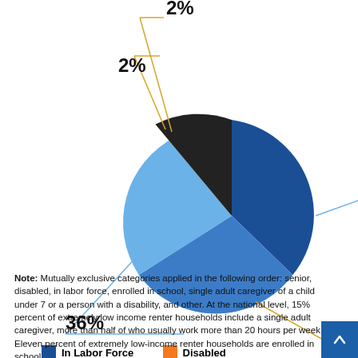[Figure (pie-chart): Household types by work status]
Note: Mutually exclusive categories applied in the following order: senior, disabled, in labor force, enrolled in school, single adult caregiver of a child under 7 or a person with a disability, and other. At the national level, 15% percent of extremely low income renter households include a single adult caregiver, more than half of who usually work more than 20 hours per week. Eleven percent of extremely low-income renter households are enrolled in school.